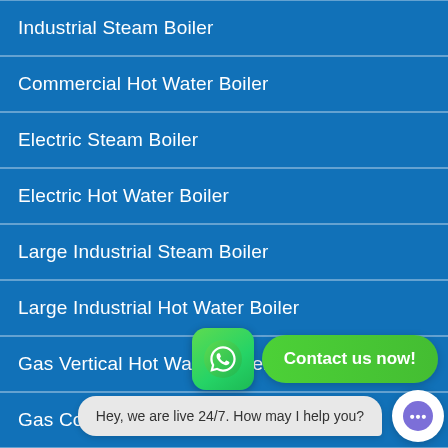Industrial Steam Boiler
Commercial Hot Water Boiler
Electric Steam Boiler
Electric Hot Water Boiler
Large Industrial Steam Boiler
Large Industrial Hot Water Boiler
Gas Vertical Hot Water Boiler
Gas Condensing Hot Water Boiler
Gas Vacuum Hot W…
[Figure (screenshot): WhatsApp contact widget with green icon and 'Contact us now!' button]
[Figure (screenshot): Live chat widget bubble: 'Hey, we are live 24/7. How may I help you?' with purple chat avatar]